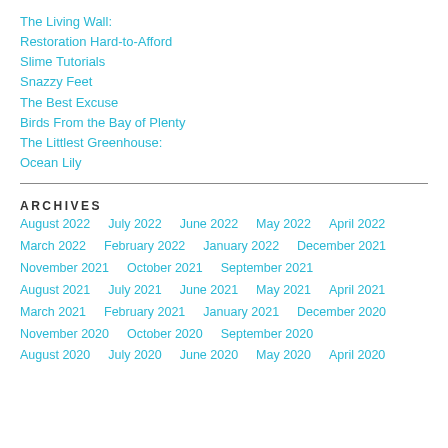The Living Wall:
Restoration Hard-to-Afford
Slime Tutorials
Snazzy Feet
The Best Excuse
Birds From the Bay of Plenty
The Littlest Greenhouse:
Ocean Lily
ARCHIVES
August 2022  July 2022  June 2022  May 2022  April 2022  March 2022  February 2022  January 2022  December 2021  November 2021  October 2021  September 2021  August 2021  July 2021  June 2021  May 2021  April 2021  March 2021  February 2021  January 2021  December 2020  November 2020  October 2020  September 2020  August 2020  July 2020  June 2020  May 2020  April 2020